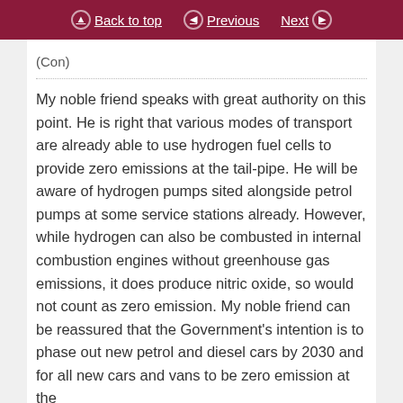Back to top | Previous | Next
(Con)
My noble friend speaks with great authority on this point. He is right that various modes of transport are already able to use hydrogen fuel cells to provide zero emissions at the tail-pipe. He will be aware of hydrogen pumps sited alongside petrol pumps at some service stations already. However, while hydrogen can also be combusted in internal combustion engines without greenhouse gas emissions, it does produce nitric oxide, so would not count as zero emission. My noble friend can be reassured that the Government's intention is to phase out new petrol and diesel cars by 2030 and for all new cars and vans to be zero emission at the